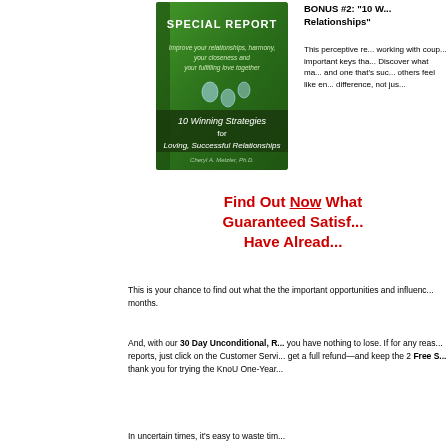BONUS #2: "10 W... Relationships"
[Figure (photo): Green book cover titled 'Special Report: 10 Winning Strategies for Loving, Successful Relationships' by Cheryl A. Metzler, Ph.D.]
This perceptive re... working with coup... important keys tha... Discover what ma... and one that's suc... others feel like en... difference, not jus...
Find Out Now What Guaranteed Satisf... Have Alread...
This is your chance to find out what the the important opportunities and influenc... months.
And, with our 30 Day Unconditional, R... you have nothing to lose. If for any reas... reports, just click on the Customer Servi... get a full refund—and keep the 2 Free S... thank you for trying the KnoU One-Year...
In uncertain times, it's easy to waste tim...